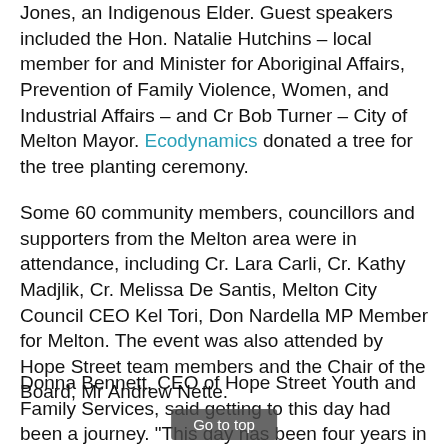Jones, an Indigenous Elder. Guest speakers included the Hon. Natalie Hutchins – local member for and Minister for Aboriginal Affairs, Prevention of Family Violence, Women, and Industrial Affairs – and Cr Bob Turner – City of Melton Mayor. Ecodynamics donated a tree for the tree planting ceremony.
Some 60 community members, councillors and supporters from the Melton area were in attendance, including Cr. Lara Carli, Cr. Kathy Madjlik, Cr. Melissa De Santis, Melton City Council CEO Kel Tori, Don Nardella MP Member for Melton. The event was also attended by Hope Street team members and the Chair of the Board, Mr Andrew Nette.
Donna Bennett, CEO of Hope Street Youth and Family Services, said getting to this day had been a journey. "This day has been four years in the making, and it's a real joy to be here celebrating this moment. Today is the culmination of research, fundraising and community